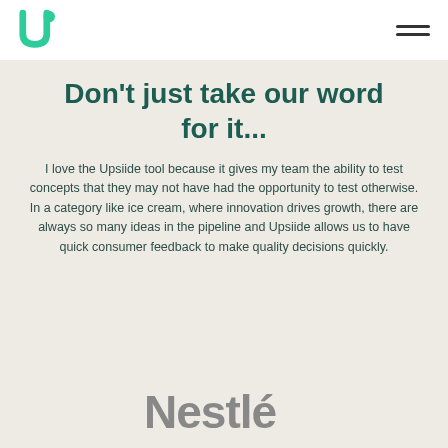Upsiide logo and navigation menu
Don't just take our word for it...
I love the Upsiide tool because it gives my team the ability to test concepts that they may not have had the opportunity to test otherwise. In a category like ice cream, where innovation drives growth, there are always so many ideas in the pipeline and Upsiide allows us to have quick consumer feedback to make quality decisions quickly.
[Figure (logo): Nestlé logo in gray]